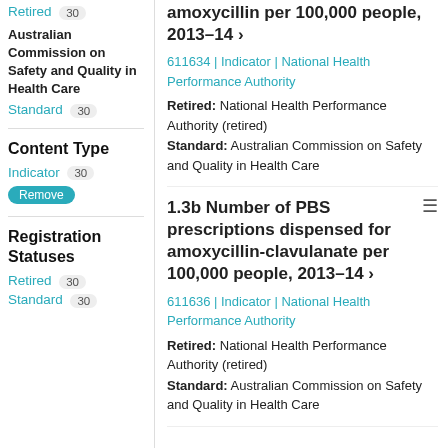Retired 30
Australian Commission on Safety and Quality in Health Care
Standard 30
Content Type
Indicator 30
Remove
Registration Statuses
Retired 30
Standard 30
amoxycillin per 100,000 people, 2013–14 ›
611634 | Indicator | National Health Performance Authority
Retired: National Health Performance Authority (retired)
Standard: Australian Commission on Safety and Quality in Health Care
1.3b Number of PBS prescriptions dispensed for amoxycillin-clavulanate per 100,000 people, 2013–14 ›
611636 | Indicator | National Health Performance Authority
Retired: National Health Performance Authority (retired)
Standard: Australian Commission on Safety and Quality in Health Care